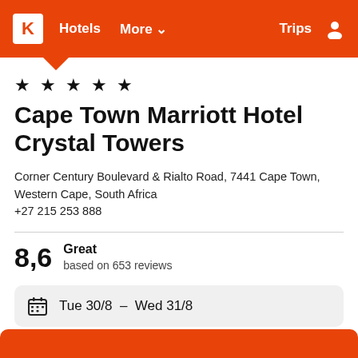K  Hotels  More ∨  Trips
★ ★ ★ ★ ★
Cape Town Marriott Hotel Crystal Towers
Corner Century Boulevard & Rialto Road, 7441 Cape Town, Western Cape, South Africa
+27 215 253 888
8,6  Great  based on 653 reviews
Tue 30/8  –  Wed 31/8
1 room, 2 guests